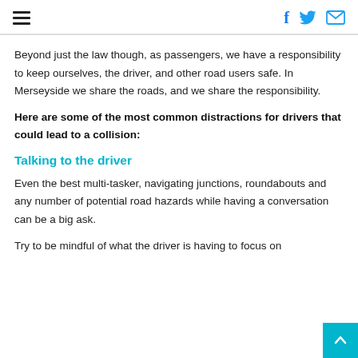≡ | f 𝕥 ✉
Beyond just the law though, as passengers, we have a responsibility to keep ourselves, the driver, and other road users safe. In Merseyside we share the roads, and we share the responsibility.
Here are some of the most common distractions for drivers that could lead to a collision:
Talking to the driver
Even the best multi-tasker, navigating junctions, roundabouts and any number of potential road hazards while having a conversation can be a big ask.
Try to be mindful of what the driver is having to focus on